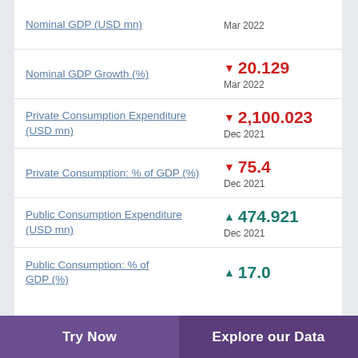Nominal GDP (USD mn) — Mar 2022
Nominal GDP Growth (%) ▼ 20.129 — Mar 2022
Private Consumption Expenditure (USD mn) ▼ 2,100.023 — Dec 2021
Private Consumption: % of GDP (%) ▼ 75.4 — Dec 2021
Public Consumption Expenditure (USD mn) ▲ 474.921 — Dec 2021
Public Consumption: % of GDP (%) ▲ 17.0
Try Now   Explore our Data